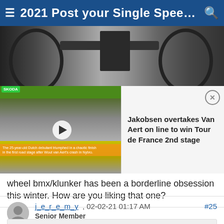2021 Post your Single Speed an...
[Figure (photo): Close-up photo of bicycle wheels, dark background]
[Figure (screenshot): Video thumbnail of cycling race crowd with play button, overlaid with news popup: 'Jakobsen overtakes Van Aert on line to win Tour de France 2nd stage' with close button]
wheel bmx/klunker has been a borderline obsession this winter. How are you liking that one?
j_e_r_e_m_y , 02-02-21 01:17 AM
Senior Member
#25
Quote:
Originally Posted by ethet
Let's go...